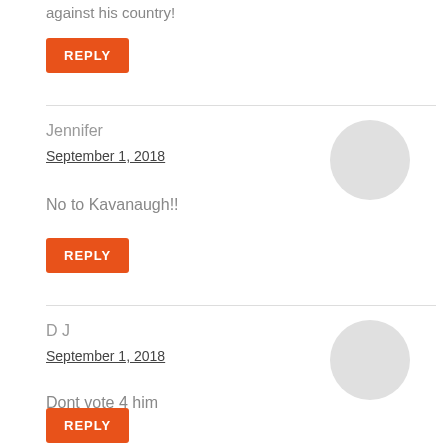against his country!
REPLY
Jennifer
September 1, 2018
No to Kavanaugh!!
REPLY
D J
September 1, 2018
Dont vote 4 him
REPLY